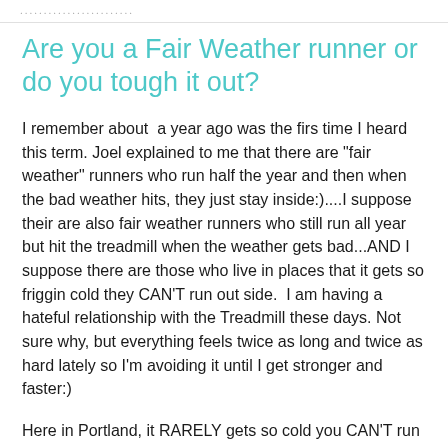........................
Are you a Fair Weather runner or do you tough it out?
I remember about  a year ago was the firs time I heard this term. Joel explained to me that there are "fair weather" runners who run half the year and then when the bad weather hits, they just stay inside:)....I suppose their are also fair weather runners who still run all year but hit the treadmill when the weather gets bad...AND I suppose there are those who live in places that it gets so friggin cold they CAN'T run out side.  I am having a hateful relationship with the Treadmill these days. Not sure why, but everything feels twice as long and twice as hard lately so I'm avoiding it until I get stronger and faster:)
Here in Portland, it RARELY gets so cold you CAN'T run outside. Last year I went out when it was 19 degrees and after 1 mile my face was borderline frost-bitten. Joel told me